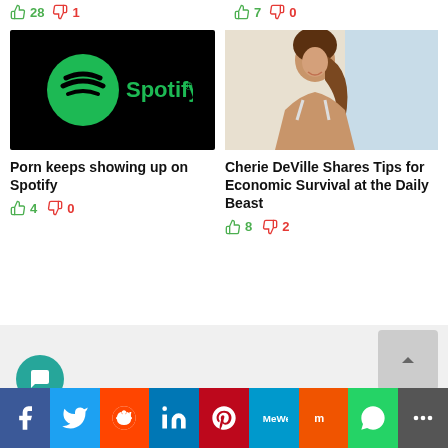28 upvotes 1 downvote | 7 upvotes 0 downvotes
[Figure (logo): Spotify logo on black background]
[Figure (photo): Photo of Cherie DeVille woman with brown hair ponytail]
Porn keeps showing up on Spotify
4 upvotes 0 downvotes
Cherie DeVille Shares Tips for Economic Survival at the Daily Beast
8 upvotes 2 downvotes
[Figure (infographic): Social sharing bar with Facebook, Twitter, Reddit, LinkedIn, Pinterest, MeWe, Mix, WhatsApp, and more buttons]